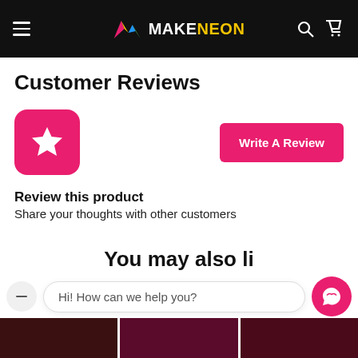MAKENEON
Customer Reviews
[Figure (screenshot): Pink rounded square with a white star icon, and a pink 'Write A Review' button]
Review this product
Share your thoughts with other customers
Hi! How can we help you?